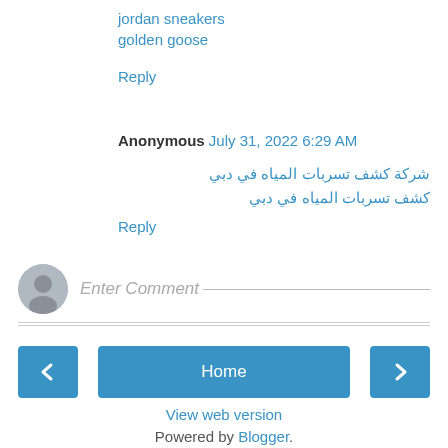jordan sneakers
golden goose
Reply
Anonymous  July 31, 2022 6:29 AM
شركة كشف تسربات المياه في دبي
كشف تسربات المياه في دبي
Reply
[Figure (other): Enter Comment input area with user avatar icon]
[Figure (other): Navigation bar with back arrow button, Home button, and forward arrow button]
View web version
Powered by Blogger.